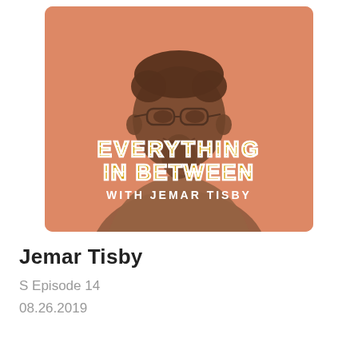[Figure (photo): Podcast cover art for 'Everything In Between with Jemar Tisby'. Shows a smiling Black man wearing glasses and a collared shirt against a salmon/peach colored background. The podcast name 'EVERYTHING IN BETWEEN' is overlaid in bold stylized text with gold/yellow and white striped letterforms. Below that reads 'WITH JEMAR TISBY' in white uppercase letters.]
Jemar Tisby
S Episode 14
08.26.2019